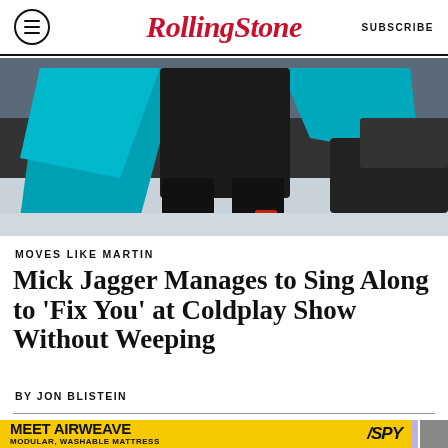Rolling Stone | SUBSCRIBE
[Figure (photo): Person from behind wearing a teal/turquoise jacket or scarf with dark clothing, standing on a light-colored floor with dark trousers and dark shoes with red detail.]
MOVES LIKE MARTIN
Mick Jagger Manages to Sing Along to 'Fix You' at Coldplay Show Without Weeping
BY JON BLISTEIN
[Figure (photo): Advertisement banner: MEET AIRWEAVE MODULAR, WASHABLE MATTRESS / SPY]
[Figure (photo): Partial photo visible below article content, showing a person's head/hair against a purple background.]